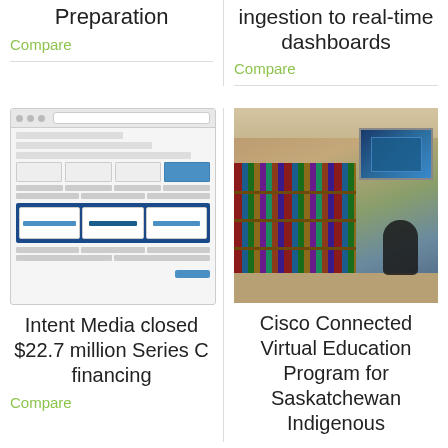Preparation
Compare
ingestion to real-time dashboards
Compare
[Figure (screenshot): Screenshot of a web application interface showing data tables and a blue highlighted section with partner logos]
Intent Media closed $22.7 million Series C financing
Compare
[Figure (photo): Photo of a library or classroom with bookshelves, a large display screen showing a video conference, and a child in the foreground]
Cisco Connected Virtual Education Program for Saskatchewan Indigenous